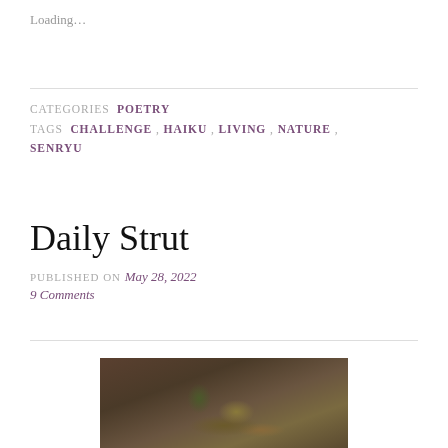Loading...
CATEGORIES  POETRY
TAGS  CHALLENGE , HAIKU , LIVING , NATURE , SENRYU
Daily Strut
PUBLISHED ON May 28, 2022
9 Comments
[Figure (photo): A duck or bird photographed on the ground among fallen leaves and forest debris, viewed from above at close range.]